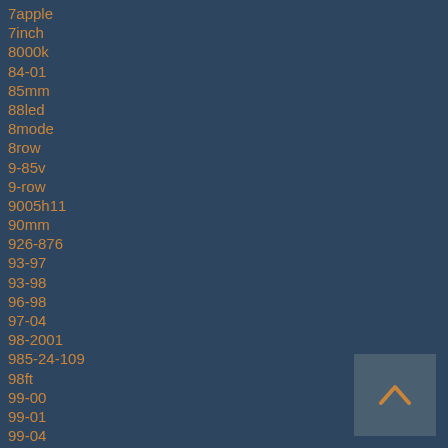7apple
7inch
8000k
84-01
85mm
88led
8mode
8row
9-85v
9-row
9005h11
90mm
926-876
93-97
93-98
96-98
97-04
98-2001
985-24-109
98ft
99-00
99-01
99-04
99-05
99-08
9inch
[Figure (other): Scroll-to-top button with upward chevron arrow icon]